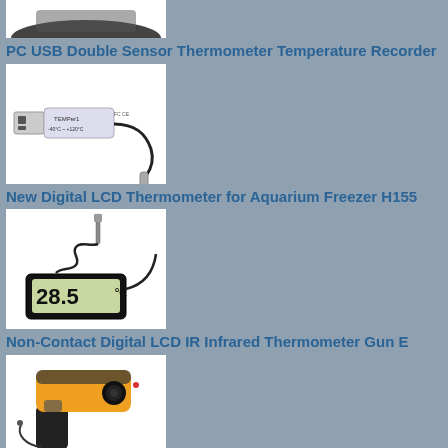[Figure (photo): Top portion of a thermometer device, dark handle/probe visible against white background]
PC USB Double Sensor Thermometer Temperature Recorder
[Figure (photo): PC USB Double Sensor Thermometer Temperature Recorder - silver USB dongle with TEMPer1 label showing -40°C ~ +120°C and a probe attached by cable]
New Digital LCD Thermometer for Aquarium Freezer H155
[Figure (photo): New Digital LCD Thermometer for Aquarium Freezer H155 - black LCD display showing 28.5°C with external probe on cable]
Non-Contact Digital LCD IR Infrared Thermometer Gun E
[Figure (photo): Non-Contact Digital LCD IR Infrared Thermometer Gun E - yellow and black infrared thermometer gun]